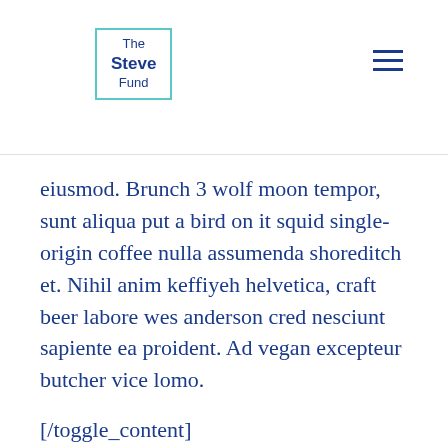The Steve Fund
eiusmod. Brunch 3 wolf moon tempor, sunt aliqua put a bird on it squid single-origin coffee nulla assumenda shoreditch et. Nihil anim keffiyeh helvetica, craft beer labore wes anderson cred nesciunt sapiente ea proident. Ad vegan excepteur butcher vice lomo.
[/toggle_content]
Toggle Accordion